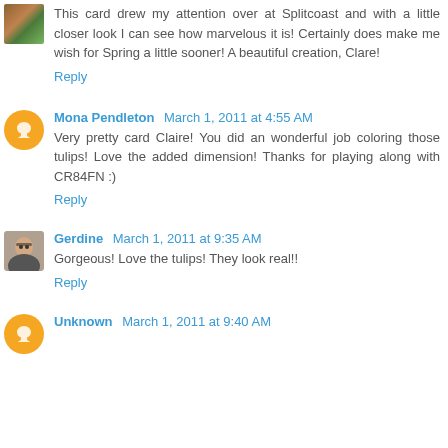This card drew my attention over at Splitcoast and with a little closer look I can see how marvelous it is! Certainly does make me wish for Spring a little sooner! A beautiful creation, Clare!
Reply
Mona Pendleton March 1, 2011 at 4:55 AM
Very pretty card Claire! You did an wonderful job coloring those tulips! Love the added dimension! Thanks for playing along with CR84FN :)
Reply
Gerdine March 1, 2011 at 9:35 AM
Gorgeous! Love the tulips! They look real!!
Reply
Unknown March 1, 2011 at 9:40 AM